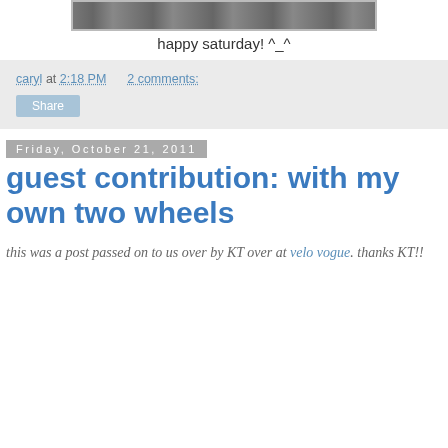[Figure (photo): Partial photo of bicycles, cropped at the top of the page]
happy saturday! ^_^
caryl at 2:18 PM    2 comments:
Share
Friday, October 21, 2011
guest contribution: with my own two wheels
this was a post passed on to us over by KT over at velo vogue. thanks KT!!